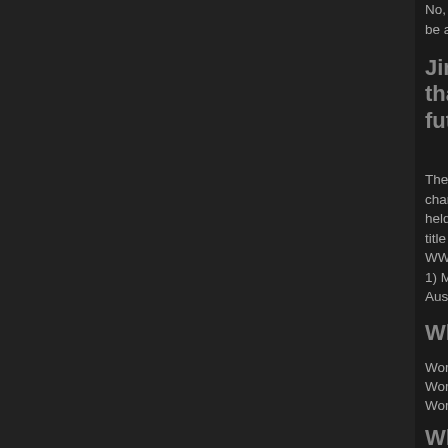No, the way it is seems to be good. Championship titles already before, adding more titles to the mix would be a bad idea.
Jim Ross said at Judgment Day the that held the IC title. My question is future WWE champions?
There are 13 wrestlers who held the Intercontinental championship champions. Although only two people held the world title before held the "WWWF" title in 1972 and later won the IC title in 19 title in 1998 and later became IC champion in 2001. Here is the WWF/WWE champions: (in order)
1) Macho Man Randy Savage; 2) Ultimate Warrior; 3) Bret Har Austin; 7) The Rock; 8) Triple H; 9) Kurt Angle; 10) Chris Jeri
Which year was it WWWF, then WW
World Wide Wrestling Federation (April 1963 - March 1979)
World Wrestling Federation (March 1979 - May 2002)
World Wrestling Entertainment (May 2002 - present)
Why has King Of The Ring been rep Will they have it later this year on a
It's because they want to have PPVs for each brand (RAW and S was the least biggest PPV out of the top 4 (Royal Rumble, Wres they decided to remove it. They kept PPVs like Backlash, Judg PPVs" if you know what I mean and they would fit perfectly fo question, The King of the Ring is no more. Personally, I think i PPV, but it's the WWE, it's not the first stupid decision they've e